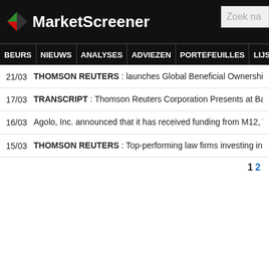MarketScreener — Zoek na
BEURS | NIEUWS | ANALYSES | ADVIEZEN | PORTEFEUILLES | LIJSTENS
21/03  THOMSON REUTERS : launches Global Beneficial Ownership and addit...
17/03  TRANSCRIPT : Thomson Reuters Corporation Presents at Bank of Ameri...
16/03  Agolo, Inc. announced that it has received funding from M12, Tensility Ver...
15/03  THOMSON REUTERS : Top-performing law firms investing in their people...
1 2